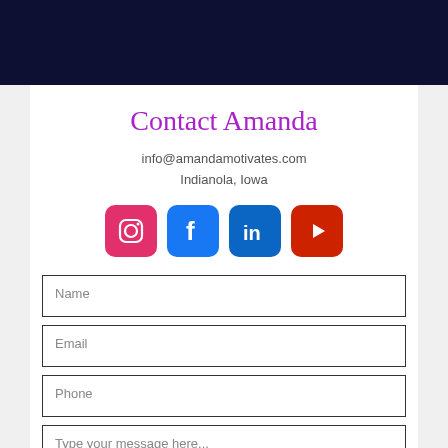[Figure (other): Dark navy header banner at top of page]
Contact Amanda
info@amandamotivates.com
Indianola, Iowa
[Figure (other): Social media icons: Instagram (pink/red rounded square), Facebook (blue rounded square), LinkedIn (blue rounded square), YouTube (red rounded square)]
Name
Email
Phone
Type your message here...